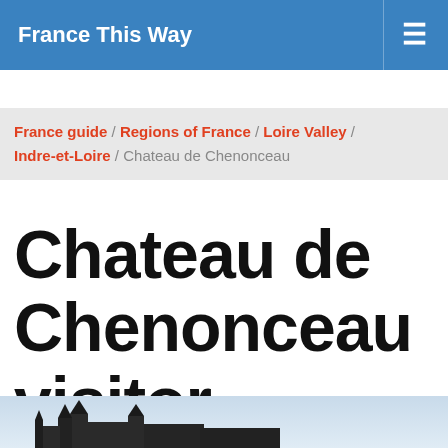France This Way
France guide / Regions of France / Loire Valley / Indre-et-Loire / Chateau de Chenonceau
Chateau de Chenonceau visitor guide
[Figure (photo): Bottom portion of a photo showing the rooftop/towers of Chateau de Chenonceau castle against a light sky]